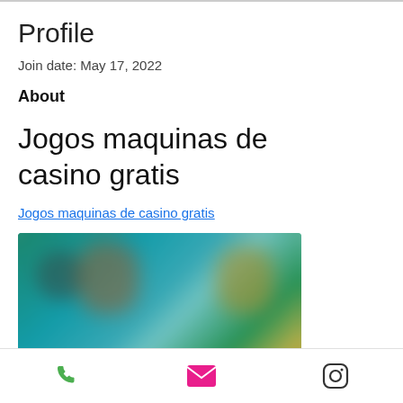Profile
Join date: May 17, 2022
About
Jogos maquinas de casino gratis
Jogos maquinas de casino gratis
[Figure (photo): Blurred screenshot of a casino game or related content with colorful characters on a teal/green background]
Phone | Email | Instagram icons